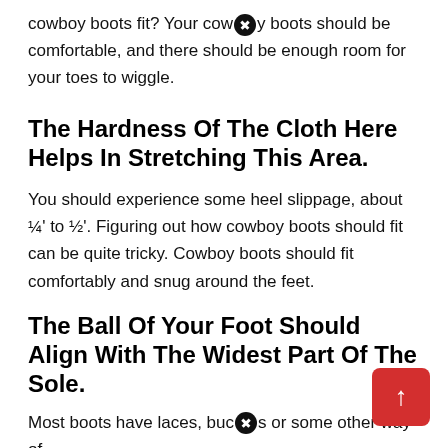cowboy boots fit? Your cowboy boots should be comfortable, and there should be enough room for your toes to wiggle.
The Hardness Of The Cloth Here Helps In Stretching This Area.
You should experience some heel slippage, about ¼' to ½'. Figuring out how cowboy boots should fit can be quite tricky. Cowboy boots should fit comfortably and snug around the feet.
The Ball Of Your Foot Should Align With The Widest Part Of The Sole.
Most boots have laces, buckles or some other way of